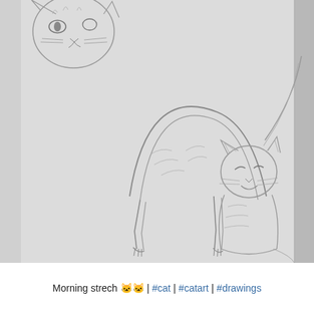[Figure (illustration): Pencil sketch drawing on white/gray paper showing multiple cats: a cat head in upper left, a stretching cat in the center-left viewed from behind with arched back, a sitting cat with eyes closed smiling on the right, and partial cat paw/leg in lower left. The paper appears slightly curled on the right edge.]
Morning strech 🐱🐱 | #cat | #catart | #drawings